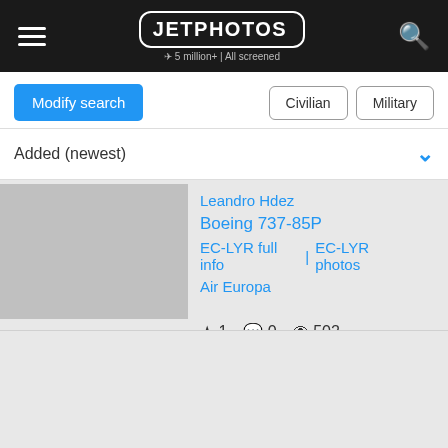JETPHOTOS – 5 million+ | All screened
Modify search | Civilian | Military
Added (newest)
Leandro Hdez
Boeing 737-85P
EC-LYR full info | EC-LYR photos
Air Europa
★ 1  💬 0  👁 502